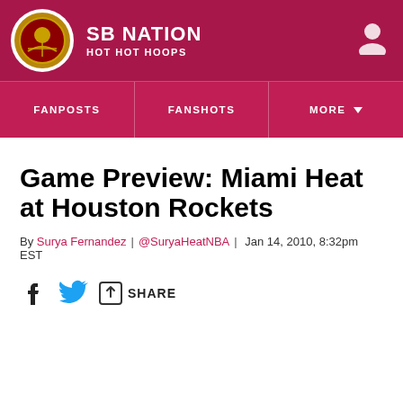SB NATION | HOT HOT HOOPS
Game Preview: Miami Heat at Houston Rockets
By Surya Fernandez | @SuryaHeatNBA | Jan 14, 2010, 8:32pm EST
SHARE